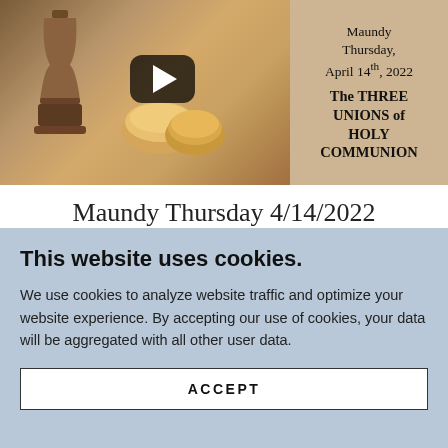[Figure (screenshot): Video thumbnail showing a goblet/chalice and bread on a wooden surface with a play button overlay, and text overlay on the right reading 'Maundy Thursday, April 14th, 2022 / The THREE UNIONS of HOLY COMMUNION']
Maundy Thursday 4/14/2022
This website uses cookies.
We use cookies to analyze website traffic and optimize your website experience. By accepting our use of cookies, your data will be aggregated with all other user data.
ACCEPT